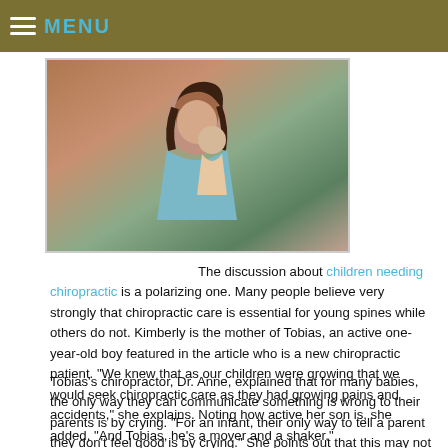MENU
[Figure (photo): Photo of a woman (Kimberly) with a young child (Tobias), a one-year-old boy]
The discussion about children needing chiropractic is a polarizing one. Many people believe very strongly that chiropractic care is essential for young spines while others do not. Kimberly is the mother of Tobias, an active one-year-old boy featured in the article who is a new chiropractic patient. "We knew that as our children were growing that we would seek chiropractic care as they had growing pains and accidents," she explains. Noting how active her son is, she added, “And Tobias, he’s a mover and a shaker.”
Tobias’s chiropractor, Dr. Anne, explained that for many babies, the only way they can communicate something is wrong to their parents is by crying. “For an infant, their only way to tell a parent they don’t feel good is by crying.” She points out that this may not be just the result of being hungry or tired or wet, but may well be the result of a health issue that stems from a spinal misalignment, known as a subluxation.